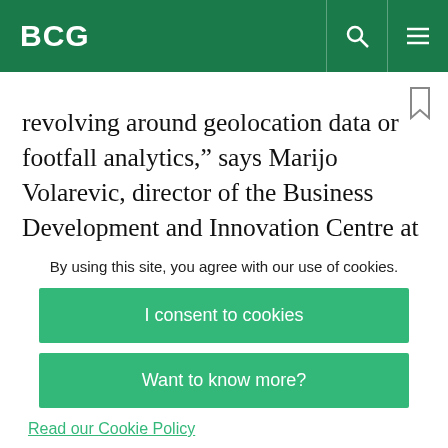BCG
revolving around geolocation data or footfall analytics,” says Marijo Volarevic, director of the Business Development and Innovation Centre at Hrvatski Telekom. (See “Mining Data but Not Yet Striking Gold.”) But great care must be taken with this business model. From a privacy perspective
By using this site, you agree with our use of cookies.
I consent to cookies
Want to know more?
Read our Cookie Policy